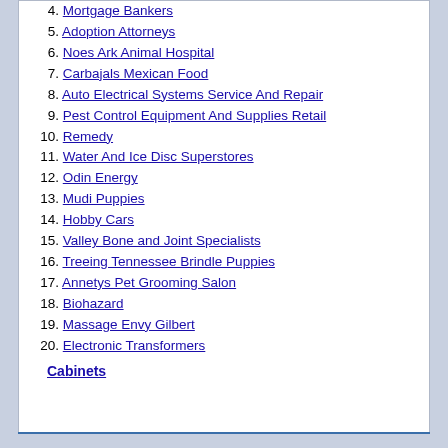4. Mortgage Bankers
5. Adoption Attorneys
6. Noes Ark Animal Hospital
7. Carbajals Mexican Food
8. Auto Electrical Systems Service And Repair
9. Pest Control Equipment And Supplies Retail
10. Remedy
11. Water And Ice Disc Superstores
12. Odin Energy
13. Mudi Puppies
14. Hobby Cars
15. Valley Bone and Joint Specialists
16. Treeing Tennessee Brindle Puppies
17. Annetys Pet Grooming Salon
18. Biohazard
19. Massage Envy Gilbert
20. Electronic Transformers
Cabinets